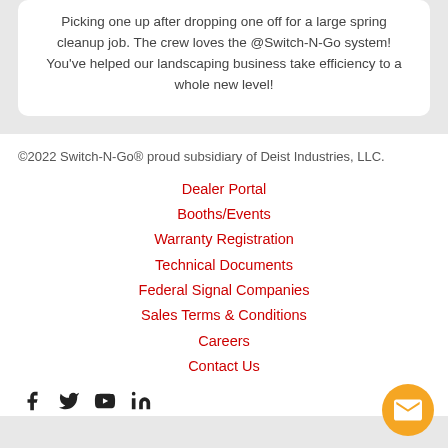Picking one up after dropping one off for a large spring cleanup job. The crew loves the @Switch-N-Go system! You've helped our landscaping business take efficiency to a whole new level!
©2022 Switch-N-Go® proud subsidiary of Deist Industries, LLC.
Dealer Portal
Booths/Events
Warranty Registration
Technical Documents
Federal Signal Companies
Sales Terms & Conditions
Careers
Contact Us
[Figure (illustration): Social media icons: Facebook, Twitter, YouTube, LinkedIn]